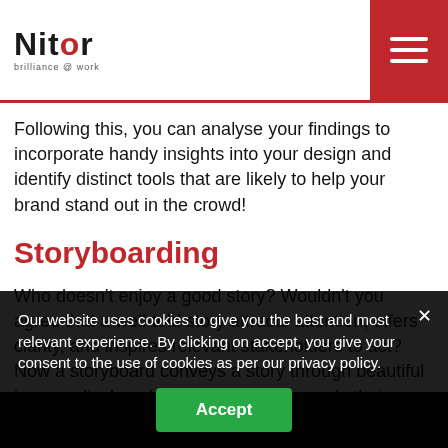[Figure (logo): Nitor logo with 'brilliance @ work' tagline and red menu button]
Following this, you can analyse your findings to incorporate handy insights into your design and identify distinct tools that are likely to help your brand stand out in the crowd!
Storyboarding
Who doesn't enjoy a good story? Wouldn't you agree that a well-told story attracts attention, offers clarity, and inspires relevant stakeholders to act? Now a storyboard conveys a story through beautiful images displayed in a sequence of panels that systematically portrays the major happenings in the...
Our website uses cookies to give you the best and most relevant experience. By clicking on accept, you give your consent to the use of cookies as per our privacy policy.